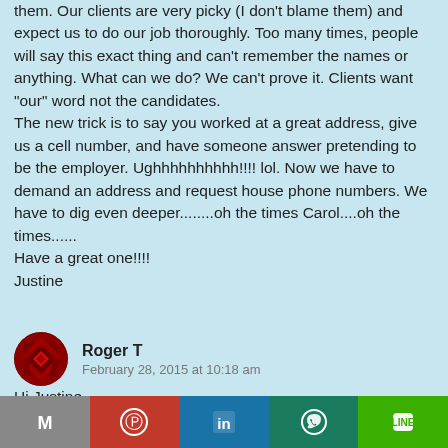them. Our clients are very picky (I don't blame them) and expect us to do our job thoroughly. Too many times, people will say this exact thing and can't remember the names or anything. What can we do? We can't prove it. Clients want "our" word not the candidates.
The new trick is to say you worked at a great address, give us a cell number, and have someone answer pretending to be the employer. Ughhhhhhhh!!!! lol. Now we have to demand an address and request house phone numbers. We have to dig even deeper........oh the times Carol....oh the times......
Have a great one!!!!
Justine
Roger T
February 28, 2015 at 10:18 am
Hi Justine,